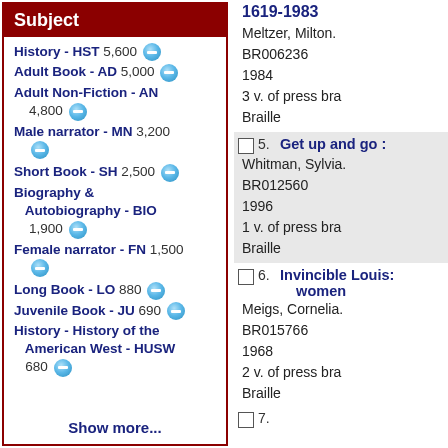Subject
History - HST 5,600 [minus]
Adult Book - AD 5,000 [minus]
Adult Non-Fiction - AN 4,800 [minus]
Male narrator - MN 3,200 [minus]
Short Book - SH 2,500 [minus]
Biography & Autobiography - BIO 1,900 [minus]
Female narrator - FN 1,500 [minus]
Long Book - LO 880 [minus]
Juvenile Book - JU 690 [minus]
History - History of the American West - HUSW 680 [minus]
Show more...
1619-1983
Meltzer, Milton.
BR006236
1984
3 v. of press braille
Braille
5. Get up and go :
Whitman, Sylvia.
BR012560
1996
1 v. of press braille
Braille
6. Invincible Louisa: women
Meigs, Cornelia.
BR015766
1968
2 v. of press braille
Braille